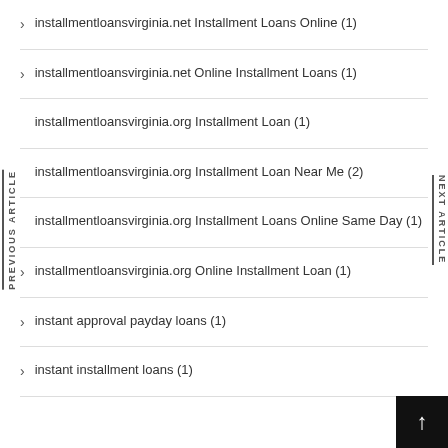installmentloansvirginia.net Installment Loans Online (1)
installmentloansvirginia.net Online Installment Loans (1)
installmentloansvirginia.org Installment Loan (1)
installmentloansvirginia.org Installment Loan Near Me (2)
installmentloansvirginia.org Installment Loans Online Same Day (1)
installmentloansvirginia.org Online Installment Loan (1)
instant approval payday loans (1)
instant installment loans (1)